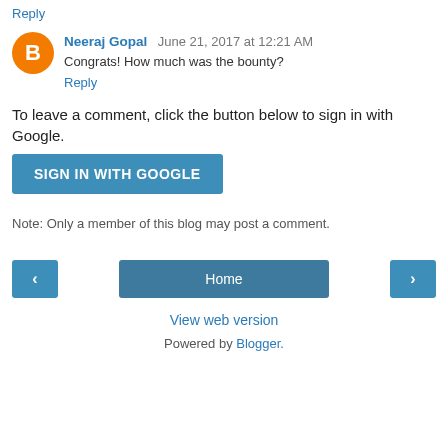Reply
Neeraj Gopal  June 21, 2017 at 12:21 AM
Congrats! How much was the bounty?
Reply
To leave a comment, click the button below to sign in with Google.
SIGN IN WITH GOOGLE
Note: Only a member of this blog may post a comment.
< Home >
View web version
Powered by Blogger.